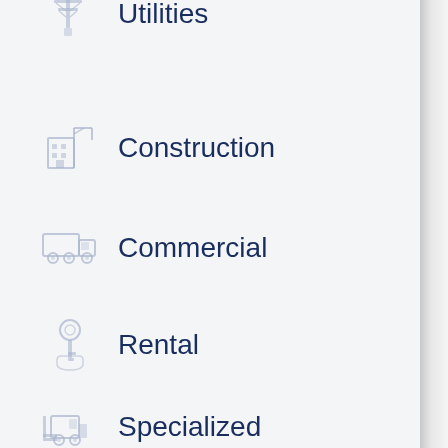Utilities
Construction
Commercial
Rental
Specialized